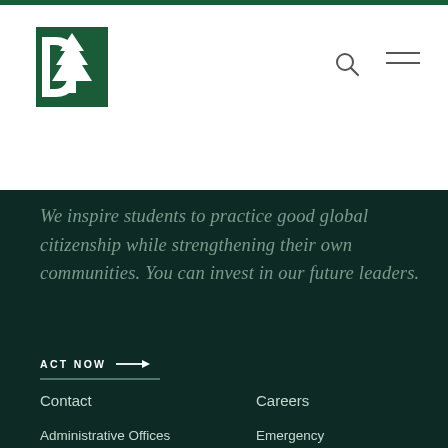[Figure (logo): Dartmouth College logo: green square with white pine tree and white letter D]
We inspire students to practice good global citizenship while strengthening their own communities. You can invest in our future leaders.
ACT NOW →
Contact
Careers
Administrative Offices
Emergency